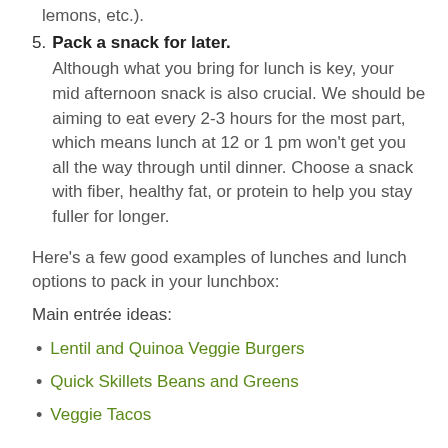lemons, etc.).
5. Pack a snack for later. Although what you bring for lunch is key, your mid afternoon snack is also crucial. We should be aiming to eat every 2-3 hours for the most part, which means lunch at 12 or 1 pm won't get you all the way through until dinner. Choose a snack with fiber, healthy fat, or protein to help you stay fuller for longer.
Here's a few good examples of lunches and lunch options to pack in your lunchbox:
Main entrée ideas:
Lentil and Quinoa Veggie Burgers
Quick Skillets Beans and Greens
Veggie Tacos